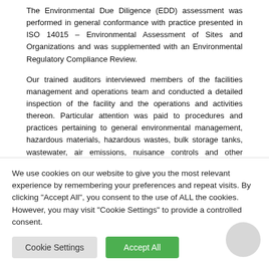The Environmental Due Diligence (EDD) assessment was performed in general conformance with practice presented in ISO 14015 – Environmental Assessment of Sites and Organizations and was supplemented with an Environmental Regulatory Compliance Review.
Our trained auditors interviewed members of the facilities management and operations team and conducted a detailed inspection of the facility and the operations and activities thereon. Particular attention was paid to procedures and practices pertaining to general environmental management, hazardous materials, hazardous wastes, bulk storage tanks, wastewater, air emissions, nuisance controls and other miscellaneous environmental aspects. The assessment also included a detailed records review to assess whether the facility was in
We use cookies on our website to give you the most relevant experience by remembering your preferences and repeat visits. By clicking "Accept All", you consent to the use of ALL the cookies. However, you may visit "Cookie Settings" to provide a controlled consent.